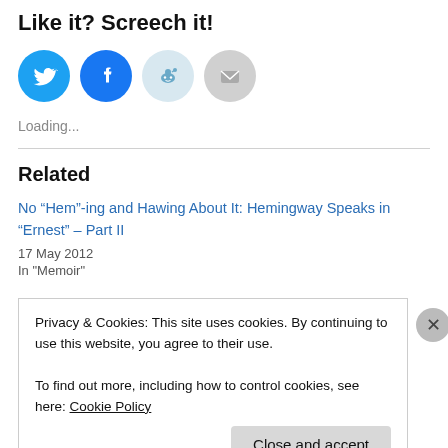Like it? Screech it!
[Figure (infographic): Four social sharing icon circles: Twitter (blue bird), Facebook (blue f), Reddit (light blue alien), Email (gray envelope)]
Loading...
Related
No “Hem”-ing and Hawing About It: Hemingway Speaks in “Ernest” – Part II
17 May 2012
In "Memoir"
Privacy & Cookies: This site uses cookies. By continuing to use this website, you agree to their use.
To find out more, including how to control cookies, see here: Cookie Policy